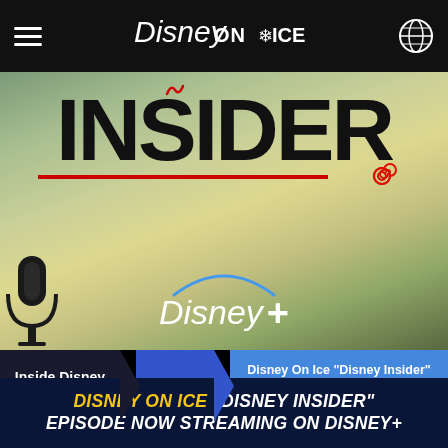[Figure (screenshot): Disney On Ice website navigation bar with hamburger menu, Disney On Ice logo, and globe icon on black background]
[Figure (photo): Hero image showing 'INSIDER' text in large black letters on a muted green/olive background, with a red underline and spiral decoration, and Disney+ logo below]
Inside Disney On Ice
News
Disney On Ice "Disney Insider" Episode Now Streaming on Disney+
DISNEY ON ICE "DISNEY INSIDER" EPISODE NOW STREAMING ON DISNEY+